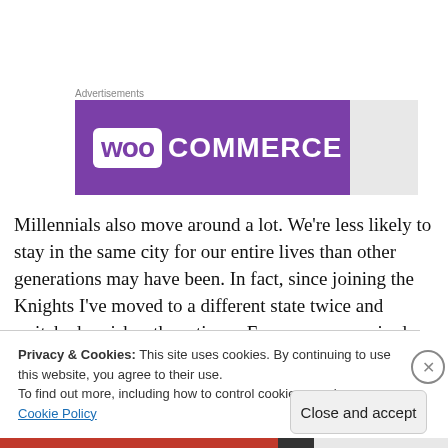Advertisements
[Figure (logo): WooCommerce advertisement banner with purple background and white WooCommerce logo]
Millennials also move around a lot. We're less likely to stay in the same city for our entire lives than other generations may have been. In fact, since joining the Knights I've moved to a different state twice and switched parishes three times. Every move required me to complete a council
Privacy & Cookies: This site uses cookies. By continuing to use this website, you agree to their use.
To find out more, including how to control cookies, see here: Cookie Policy
Close and accept